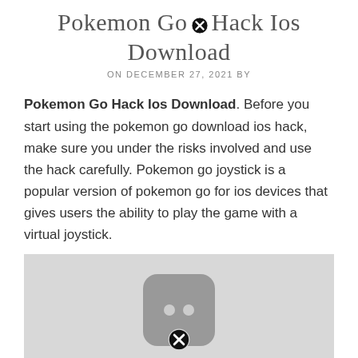Pokemon Go Hack Ios Download
ON DECEMBER 27, 2021 BY
Pokemon Go Hack Ios Download. Before you start using the pokemon go download ios hack, make sure you under the risks involved and use the hack carefully. Pokemon go joystick is a popular version of pokemon go for ios devices that gives users the ability to play the game with a virtual joystick.
[Figure (screenshot): Screenshot of a Pokemon Go related app icon with a close/remove button overlay, shown on a light gray background.]